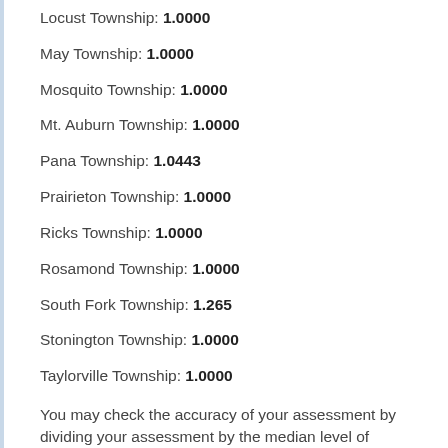Locust Township: 1.0000
May Township: 1.0000
Mosquito Township: 1.0000
Mt. Auburn Township: 1.0000
Pana Township: 1.0443
Prairieton Township: 1.0000
Ricks Township: 1.0000
Rosamond Township: 1.0000
South Fork Township: 1.265
Stonington Township: 1.0000
Taylorville Township: 1.0000
You may check the accuracy of your assessment by dividing your assessment by the median level of assessment.  If the resulting value is greater than the